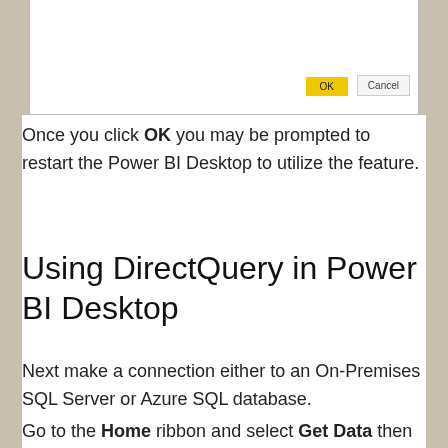[Figure (screenshot): A dialog box screenshot showing OK and Cancel buttons at the bottom right. The OK button has a yellow background.]
Once you click OK you may be prompted to restart the Power BI Desktop to utilize the feature.
Using DirectQuery in Power BI Desktop
Next make a connection either to an On-Premises SQL Server or Azure SQL database.
Go to the Home ribbon and select Get Data then SQL S...